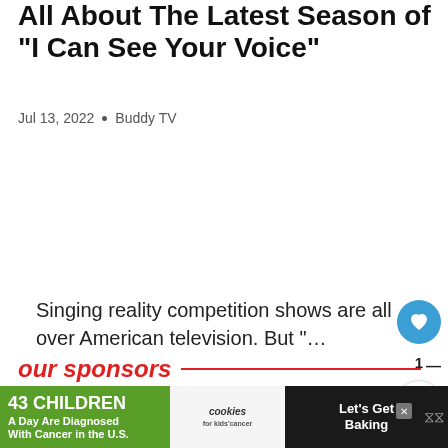All About The Latest Season of "I Can See Your Voice"
Jul 13, 2022 • Buddy TV
Singing reality competition shows are all over American television. But "…
our sponsors
Your ad could be here.
Advertise on BuddyTV
[Figure (screenshot): Bottom advertisement banner: '43 CHILDREN A Day Are Diagnosed With Cancer in the U.S.' with cookies for kids' cancer logo and 'Let's Get Baking' text on dark background]